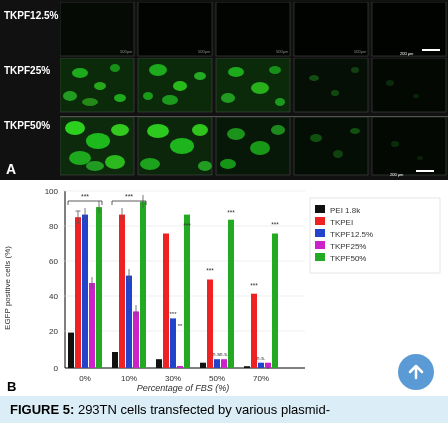[Figure (photo): Fluorescence microscopy images showing EGFP-positive 293TN cells transfected by TKPF12.5%, TKPF25%, and TKPF50% at various FBS concentrations (0%, 10%, 30%, 50%, 70%). Rows labeled TKPF12.5% (top), TKPF25% (middle), TKPF50% (bottom). Scale bar 200 µm shown at bottom right.]
[Figure (grouped-bar-chart): EGFP positive cells vs Percentage of FBS]
FIGURE 5: 293TN cells transfected by various plasmid-